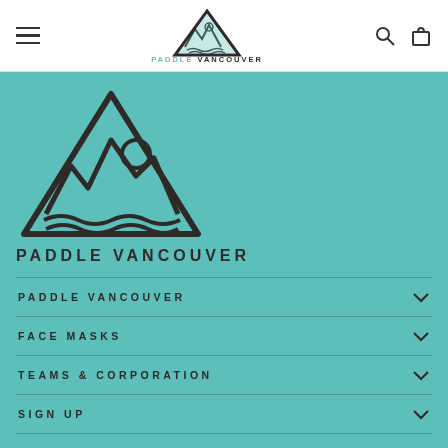Paddle Vancouver navigation header with hamburger menu, logo, search and cart icons
[Figure (logo): Paddle Vancouver triangle logo with mountains and waves, large version on teal background]
PADDLE VANCOUVER
PADDLE VANCOUVER
FACE MASKS
TEAMS & CORPORATION
SIGN UP
© 2022 Paddle Vancouver by Oddball
Powered by Shopify